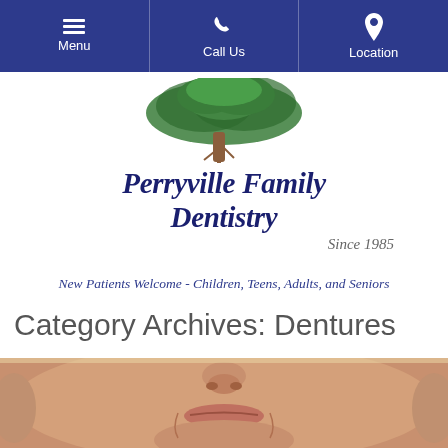Menu | Call Us | Location
[Figure (logo): Perryville Family Dentistry logo with green tree illustration above the practice name in dark blue italic serif font, with 'Since 1985' below]
New Patients Welcome - Children, Teens, Adults, and Seniors
Category Archives: Dentures
[Figure (photo): Close-up photo of an elderly person's face from nose to chin showing pursed lips, suggesting denture-related content]